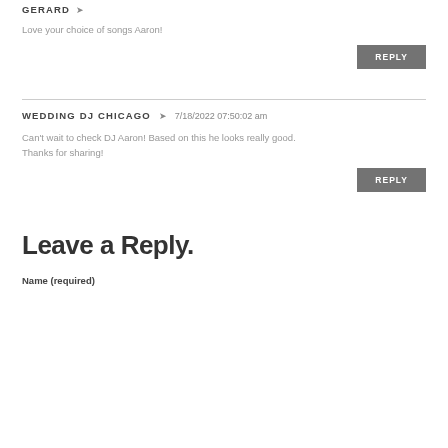GERARD ➤
Love your choice of songs Aaron!
REPLY
WEDDING DJ CHICAGO ➤  7/18/2022 07:50:02 am
Can't wait to check DJ Aaron! Based on this he looks really good. Thanks for sharing!
REPLY
Leave a Reply.
Name (required)